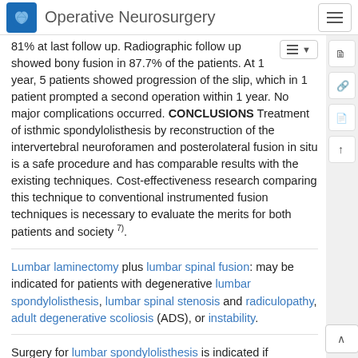Operative Neurosurgery
81% at last follow up. Radiographic follow up showed bony fusion in 87.7% of the patients. At 1 year, 5 patients showed progression of the slip, which in 1 patient prompted a second operation within 1 year. No major complications occurred. CONCLUSIONS Treatment of isthmic spondylolisthesis by reconstruction of the intervertebral neuroforamen and posterolateral fusion in situ is a safe procedure and has comparable results with the existing techniques. Cost-effectiveness research comparing this technique to conventional instrumented fusion techniques is necessary to evaluate the merits for both patients and society 7).
Lumbar laminectomy plus lumbar spinal fusion: may be indicated for patients with degenerative lumbar spondylolisthesis, lumbar spinal stenosis and radiculopathy, adult degenerative scoliosis (ADS), or instability.
Surgery for lumbar spondylolisthesis is indicated if